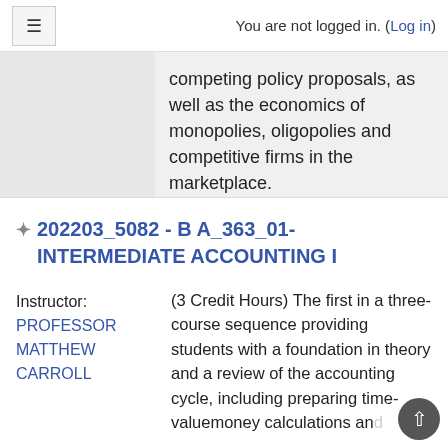You are not logged in. (Log in)
competing policy proposals, as well as the economics of monopolies, oligopolies and competitive firms in the marketplace.
202203_5082 - B A_363_01- INTERMEDIATE ACCOUNTING I
Instructor: PROFESSOR MATTHEW CARROLL
(3 Credit Hours) The first in a three-course sequence providing students with a foundation in theory and a review of the accounting cycle, including preparing time-valuemoney calculations and